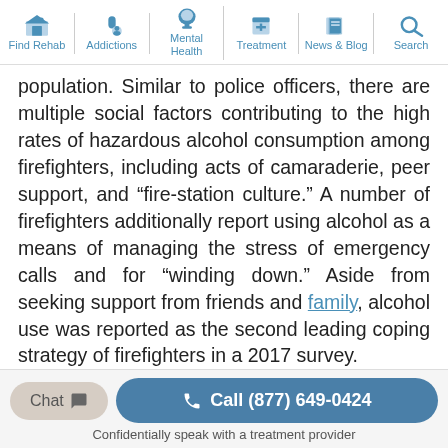Find Rehab | Addictions | Mental Health | Treatment | News & Blog | Search
population. Similar to police officers, there are multiple social factors contributing to the high rates of hazardous alcohol consumption among firefighters, including acts of camaraderie, peer support, and “fire-station culture.” A number of firefighters additionally report using alcohol as a means of managing the stress of emergency calls and for “winding down.” Aside from seeking support from friends and family, alcohol use was reported as the second leading coping strategy of firefighters in a 2017 survey.
Substance Use And
Chat | Call (877) 649-0424 | Confidentially speak with a treatment provider